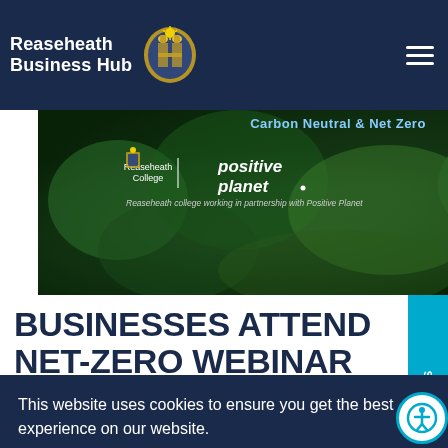Reaseheath Business Hub
[Figure (photo): Aerial forest view with Reaseheath College and Positive Planet logos and partnership text. Banner heading: Carbon Neutral & Net Zero]
BUSINESSES ATTEND NET-ZERO WEBINAR HOSTED BY REASEHEATH COLLEGE
This website uses cookies to ensure you get the best experience on our website.
Got it